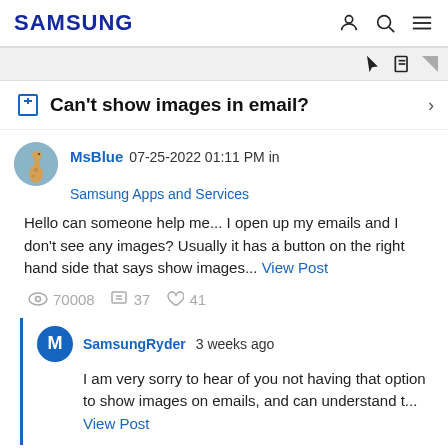SAMSUNG
Can't show images in email?
MsBlue 07-25-2022 01:11 PM in
Samsung Apps and Services
Hello can someone help me... I open up my emails and I don't see any images? Usually it has a button on the right hand side that says show images... View Post
70008  37  41
SamsungRyder 3 weeks ago
I am very sorry to hear of you not having that option to show images on emails, and can understand t... View Post